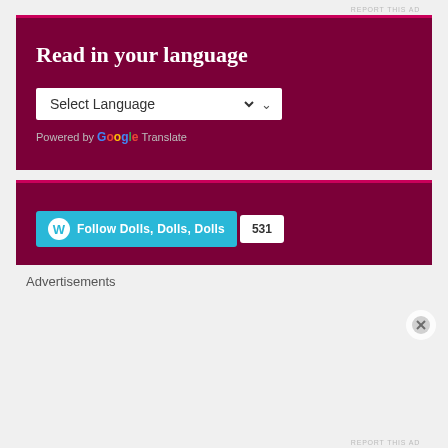REPORT THIS AD
[Figure (screenshot): Google Translate widget on dark red/maroon background with title 'Read in your language', a Select Language dropdown, and 'Powered by Google Translate' text]
[Figure (screenshot): WordPress Follow button widget on dark red/maroon background showing 'Follow Dolls, Dolls, Dolls' with count 531]
Advertisements
REPORT THIS AD